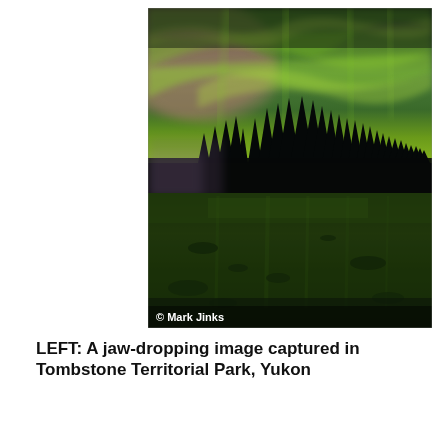[Figure (photo): Aurora borealis (northern lights) photograph over a lake with silhouetted trees. Green and pink aurora fills the sky, reflecting on dark water below. Photo credit: © Mark Jinks]
LEFT: A jaw-dropping image captured in Tombstone Territorial Park, Yukon